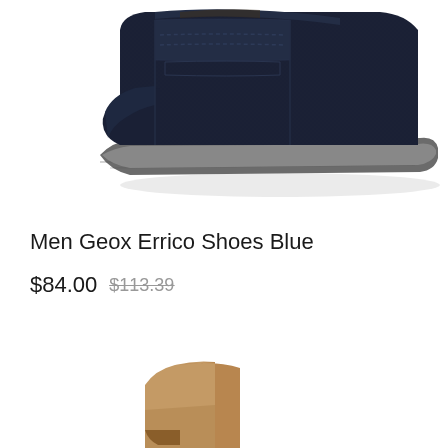[Figure (photo): Close-up photo of a navy blue suede Geox Errico shoe with gray rubber sole, cropped showing the front and sole portion of the shoe against a white background.]
Men Geox Errico Shoes Blue
$84.00 $113.39
[Figure (photo): Partial photo of a second shoe product in tan/brown color, only the top portion visible at the bottom of the page.]